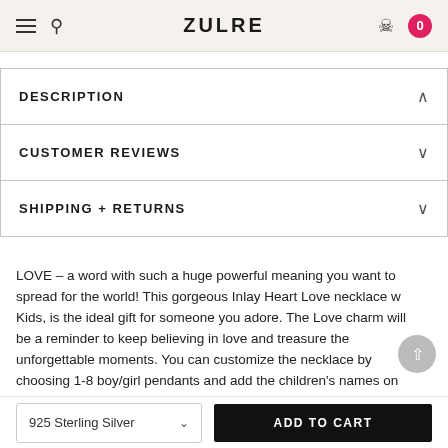ZULRE
DESCRIPTION
CUSTOMER REVIEWS
SHIPPING + RETURNS
LOVE – a word with such a huge powerful meaning you want to spread for the world! This gorgeous Inlay Heart Love necklace w... Kids, is the ideal gift for someone you adore. The Love charm will be a reminder to keep believing in love and treasure the unforgettable moments. You can customize the necklace by choosing 1-8 boy/girl pendants and add the children's names on them.